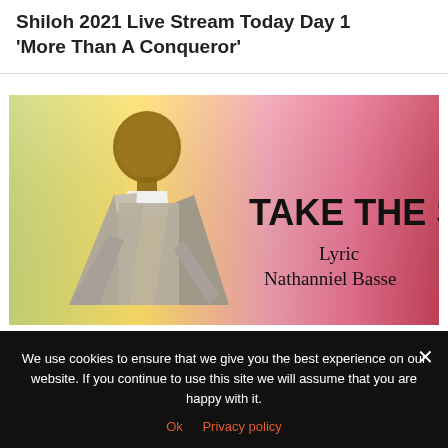Shiloh 2021 Live Stream Today Day 1 'More Than A Conqueror'
[Figure (photo): Promotional image showing a man in a grey suit against a colourful gradient background (yellow, green, pink, red). Large bold text reads 'TAKE THE STAGE' and below it 'Lyric' and 'Nathanniel Basse' in black serif text.]
We use cookies to ensure that we give you the best experience on our website. If you continue to use this site we will assume that you are happy with it.
Ok   Privacy policy